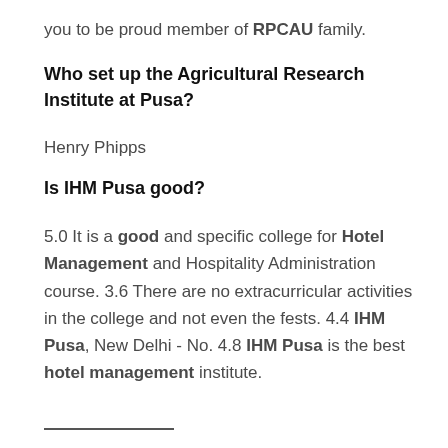you to be proud member of RPCAU family.
Who set up the Agricultural Research Institute at Pusa?
Henry Phipps
Is IHM Pusa good?
5.0 It is a good and specific college for Hotel Management and Hospitality Administration course. 3.6 There are no extracurricular activities in the college and not even the fests. 4.4 IHM Pusa, New Delhi - No. 4.8 IHM Pusa is the best hotel management institute.